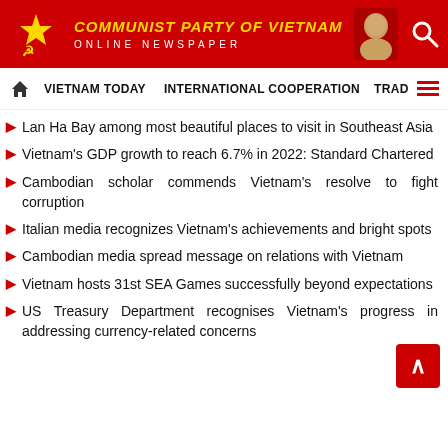COMMUNIST PARTY OF VIETNAM ONLINE NEWSPAPER
VIETNAM TODAY   INTERNATIONAL COOPERATION   TRAD
Lan Ha Bay among most beautiful places to visit in Southeast Asia
Vietnam's GDP growth to reach 6.7% in 2022: Standard Chartered
Cambodian scholar commends Vietnam's resolve to fight corruption
Italian media recognizes Vietnam's achievements and bright spots
Cambodian media spread message on relations with Vietnam
Vietnam hosts 31st SEA Games successfully beyond expectations
US Treasury Department recognises Vietnam's progress in addressing currency-related concerns